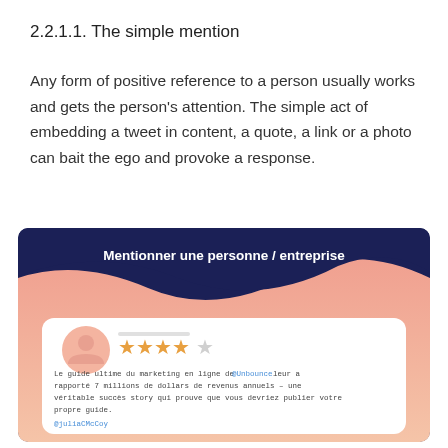2.2.1.1. The simple mention
Any form of positive reference to a person usually works and gets the person's attention. The simple act of embedding a tweet in content, a quote, a link or a photo can bait the ego and provoke a response.
[Figure (infographic): Infographic titled 'Mentionner une personne / entreprise' on dark navy background with pink/salmon wave. Shows a white card with a user avatar, 4 gold stars, and a French tweet mentioning @Unbounce by @juliaCMcCoy about online marketing generating 7 million dollars in annual revenue.]